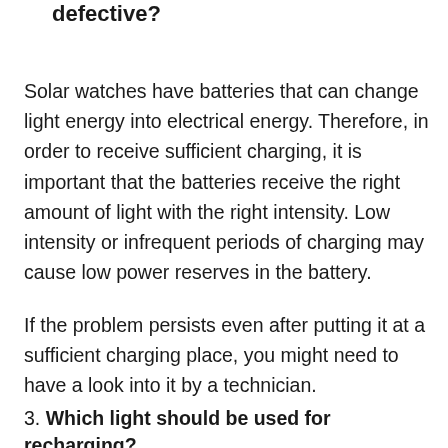defective?
Solar watches have batteries that can change light energy into electrical energy. Therefore, in order to receive sufficient charging, it is important that the batteries receive the right amount of light with the right intensity. Low intensity or infrequent periods of charging may cause low power reserves in the battery.
If the problem persists even after putting it at a sufficient charging place, you might need to have a look into it by a technician.
3. Which light should be used for recharging?